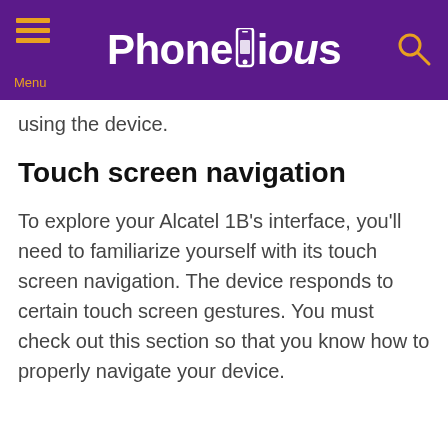Phonecurious
using the device.
Touch screen navigation
To explore your Alcatel 1B's interface, you'll need to familiarize yourself with its touch screen navigation. The device responds to certain touch screen gestures. You must check out this section so that you know how to properly navigate your device.